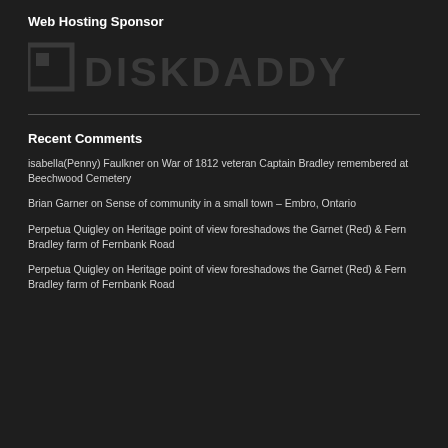Web Hosting Sponsor
[Figure (logo): DiskDaddy logo in dark gray on dark background]
Recent Comments
isabella(Penny) Faulkner on War of 1812 veteran Captain Bradley remembered at Beechwood Cemetery
Brian Garner on Sense of community in a small town – Embro, Ontario
Perpetua Quigley on Heritage point of view foreshadows the Garnet (Red) & Fern Bradley farm of Fernbank Road
Perpetua Quigley on Heritage point of view foreshadows the Garnet (Red) & Fern Bradley farm of Fernbank Road